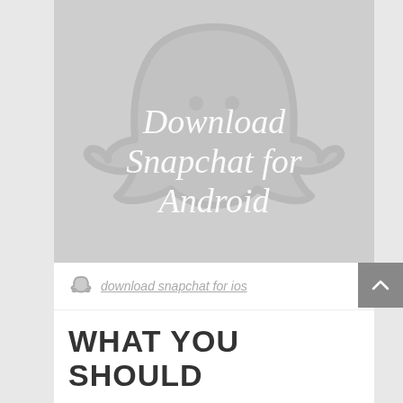[Figure (illustration): Snapchat ghost logo on gray background with text overlay reading 'Download Snapchat for Android' in white italic font]
download snapchat for ios
WHAT YOU SHOULD